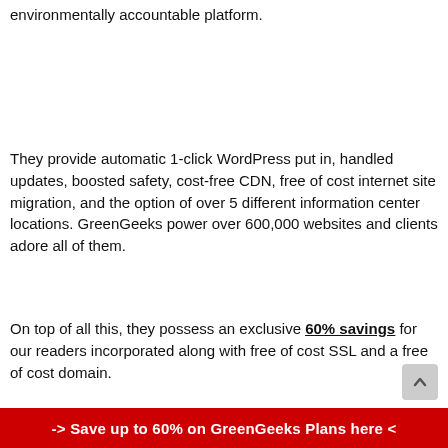environmentally accountable platform.
They provide automatic 1-click WordPress put in, handled updates, boosted safety, cost-free CDN, free of cost internet site migration, and the option of over 5 different information center locations. GreenGeeks power over 600,000 websites and clients adore all of them.
On top of all this, they possess an exclusive 60% savings for our readers incorporated along with free of cost SSL and a free of cost domain.
-> Save up to 60% on GreenGeeks Plans here <